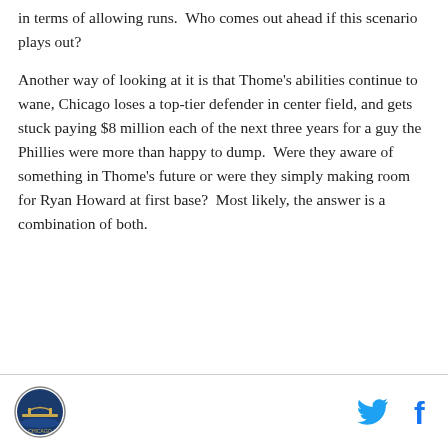in terms of allowing runs.  Who comes out ahead if this scenario plays out?
Another way of looking at it is that Thome's abilities continue to wane, Chicago loses a top-tier defender in center field, and gets stuck paying $8 million each of the next three years for a guy the Phillies were more than happy to dump.  Were they aware of something in Thome's future or were they simply making room for Ryan Howard at first base?  Most likely, the answer is a combination of both.
Logo and social share icons